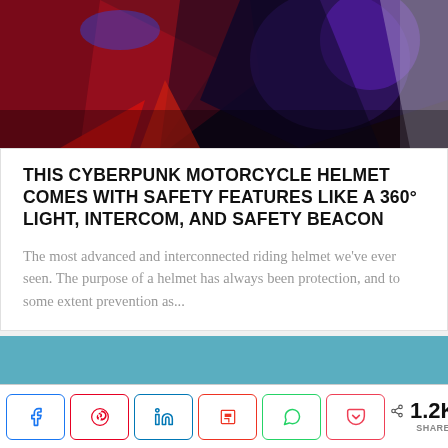[Figure (photo): Dark cyberpunk-themed photo showing abstract red and blue lighting, partial view of a motorcycle helmet or suit with purple/blue colors]
THIS CYBERPUNK MOTORCYCLE HELMET COMES WITH SAFETY FEATURES LIKE A 360° LIGHT, INTERCOM, AND SAFETY BEACON
The most advanced and interconnected riding helmet we've ever seen. The purpose of a helmet has always been protection, and to some extent prevention as...
[Figure (other): Light blue/teal banner rectangle]
< 1.2K SHARES (social share bar with Facebook, Pinterest, LinkedIn, Flipboard, WhatsApp, Pocket buttons)